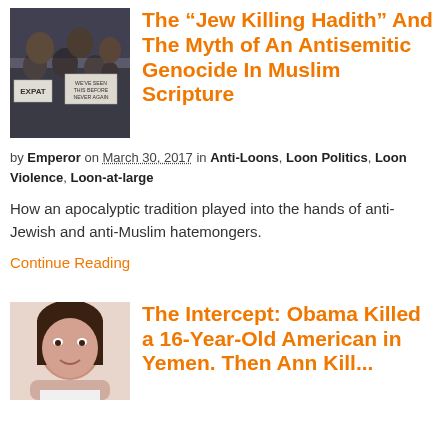[Figure (photo): Protest scene with people holding signs, one visible sign reads 'EXPAT' and another 'WE'VE SEEN THIS BEFORE NEVER AGAIN']
The “Jew Killing Hadith” And The Myth of An Antisemitic Genocide In Muslim Scripture
by Emperor on March 30, 2017 in Anti-Loons, Loon Politics, Loon Violence, Loon-at-large
How an apocalyptic tradition played into the hands of anti-Jewish and anti-Muslim hatemongers.
Continue Reading
[Figure (photo): Young girl with dark hair resting chin on hands, smiling]
The Intercept: Obama Killed a 16-Year-Old American in Yemen. Then Ann Kill...